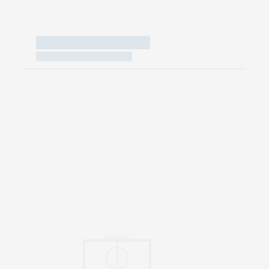[Figure (other): Faint watermark/background page with a light blue-gray header bar region in the upper left and two very faint ghosted emblem/seal watermarks in the center-lower portion of the page. Page background is light gray (#f5f5f5).]